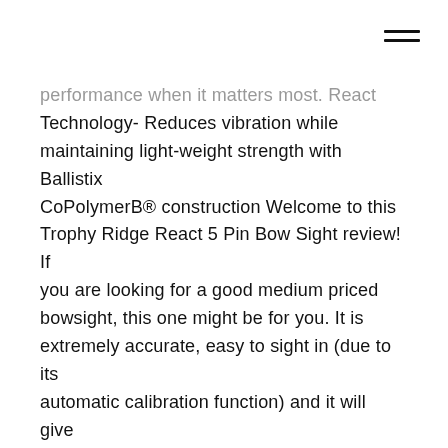performance when it matters most. React Technology- Reduces vibration while maintaining light-weight strength with Ballistix CoPolymerB® construction Welcome to this Trophy Ridge React 5 Pin Bow Sight review! If you are looking for a good medium priced bowsight, this one might be for you. It is extremely accurate, easy to sight in (due to its automatic calibration function) and it will give you enough confidence to try longer distance shots. This model is a good choice for beginners, intermediate and seasoned bowhunters, that donВЂ™t want to